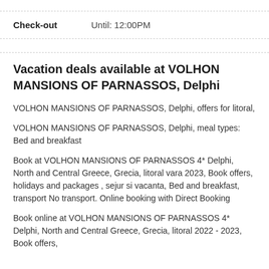Check-out    Until: 12:00PM
Vacation deals available at VOLHON MANSIONS OF PARNASSOS, Delphi
VOLHON MANSIONS OF PARNASSOS, Delphi, offers for litoral,
VOLHON MANSIONS OF PARNASSOS, Delphi, meal types: Bed and breakfast
Book at VOLHON MANSIONS OF PARNASSOS 4* Delphi, North and Central Greece, Grecia, litoral vara 2023, Book offers, holidays and packages , sejur si vacanta, Bed and breakfast, transport No transport. Online booking with Direct Booking
Book online at VOLHON MANSIONS OF PARNASSOS 4* Delphi, North and Central Greece, Grecia, litoral 2022 - 2023, Book offers, holidays and packages, sejur si vacanta,